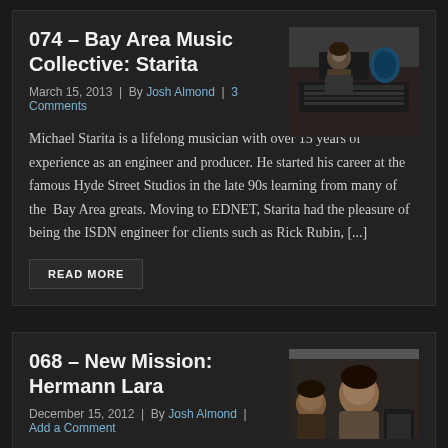074 – Bay Area Music Collective: Starita
March 15, 2013 | By Josh Almond | 3 Comments
[Figure (photo): Photo of Michael Starita at a recording studio mixing console]
Michael Starita is a lifelong musician with over 15 years of experience as an engineer and producer. He started his career at the famous Hyde Street Studios in the late 90s learning from many of the Bay Area greats. Moving to EDNET, Starita had the pleasure of being the ISDN engineer for clients such as Rick Rubin, [...]
READ MORE
068 – New Mission: Hermann Lara
December 15, 2012 | By Josh Almond | Add a Comment
[Figure (photo): Photo of Hermann Lara]